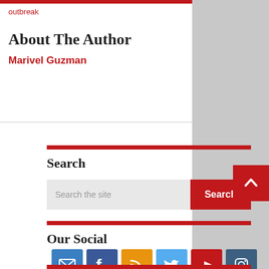outbreak
About The Author
Marivel Guzman
Search
Search the site
Our Social